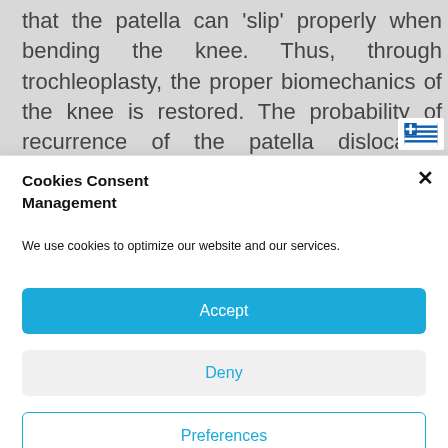that the patella can 'slip' properly when bending the knee. Thus, through trochleoplasty, the proper biomechanics of the knee is restored. The probability of recurrence of the patella dislocation decreases from 70% to 1%! Other operations, such as lateral release, tibia tuber
[Figure (other): Greek flag icon shown in top-right corner of background content area]
Cookies Consent Management
We use cookies to optimize our website and our services.
Accept
Deny
Preferences